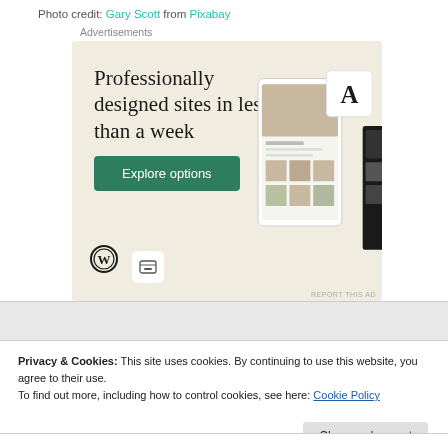Photo credit: Gary Scott from Pixabay
Advertisements
[Figure (screenshot): WordPress advertisement showing 'Professionally designed sites in less than a week' with an Explore options button, WordPress logo, and mockup screenshots of a website on the right side.]
Privacy & Cookies: This site uses cookies. By continuing to use this website, you agree to their use.
To find out more, including how to control cookies, see here: Cookie Policy
Close and accept